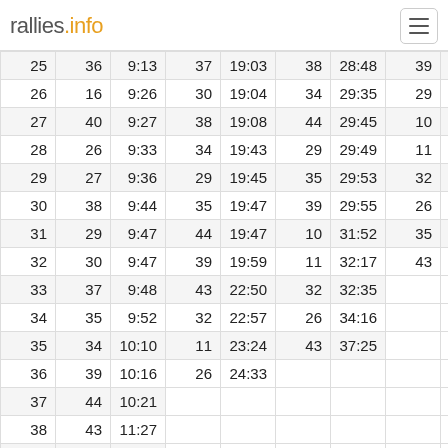rallies.info
| 25 | 36 | 9:13 | 37 | 19:03 | 38 | 28:48 | 39 | 39:35 |
| 26 | 16 | 9:26 | 30 | 19:04 | 34 | 29:35 | 29 | 39:55 |
| 27 | 40 | 9:27 | 38 | 19:08 | 44 | 29:45 | 10 | 40:34 |
| 28 | 26 | 9:33 | 34 | 19:43 | 29 | 29:49 | 11 | 41:03 |
| 29 | 27 | 9:36 | 29 | 19:45 | 35 | 29:53 | 32 | 42:03 |
| 30 | 38 | 9:44 | 35 | 19:47 | 39 | 29:55 | 26 | 43:27 |
| 31 | 29 | 9:47 | 44 | 19:47 | 10 | 31:52 | 35 | 44:53 |
| 32 | 30 | 9:47 | 39 | 19:59 | 11 | 32:17 | 43 | 49:10 |
| 33 | 37 | 9:48 | 43 | 22:50 | 32 | 32:35 |  |  |
| 34 | 35 | 9:52 | 32 | 22:57 | 26 | 34:16 |  |  |
| 35 | 34 | 10:10 | 11 | 23:24 | 43 | 37:25 |  |  |
| 36 | 39 | 10:16 | 26 | 24:33 |  |  |  |  |
| 37 | 44 | 10:21 |  |  |  |  |  |  |
| 38 | 43 | 11:27 |  |  |  |  |  |  |
| 39 | 32 | 13:17 |  |  |  |  |  |  |